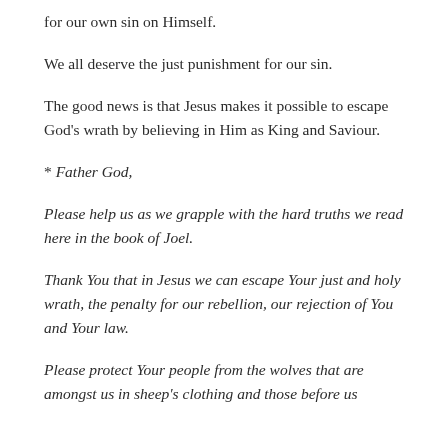for our own sin on Himself.
We all deserve the just punishment for our sin.
The good news is that Jesus makes it possible to escape God's wrath by believing in Him as King and Saviour.
* Father God,
Please help us as we grapple with the hard truths we read here in the book of Joel.
Thank You that in Jesus we can escape Your just and holy wrath, the penalty for our rebellion, our rejection of You and Your law.
Please protect Your people from the wolves that are amongst us in sheep's clothing and those before us